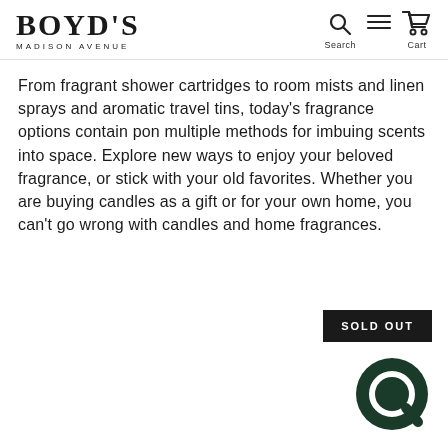BOYD'S MADISON AVENUE — Search, Menu, Cart
From fragrant shower cartridges to room mists and linen sprays and aromatic travel tins, today's fragrance options contain pon multiple methods for imbuing scents into space. Explore new ways to enjoy your beloved fragrance, or stick with your old favorites. Whether you are buying candles as a gift or for your own home, you can't go wrong with candles and home fragrances.
[Figure (other): SOLD OUT button — dark rectangular badge with white text]
[Figure (other): Dark green circular chat widget icon in bottom right corner]